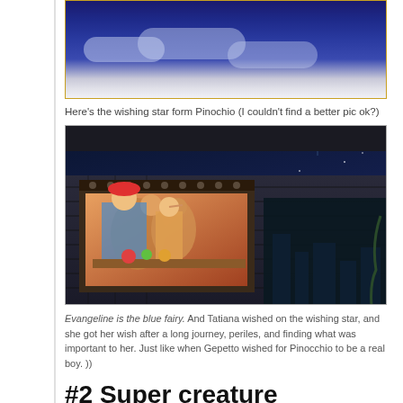[Figure (illustration): Top portion of a night sky scene from Pinocchio showing dark blue sky with clouds, bordered in gold]
Here’s the wishing star form Pinochio (I couldn’t find a better pic ok?)
[Figure (illustration): Scene from Pinocchio showing characters in a lit window on a stone wall at night, with a bright star/comet in the dark blue sky]
Evangeline is the blue fairy. And Tatiana wished on the wishing star, and she got her wish after a long journey, periles, and finding what was important to her. Just like when Gepetto wished for Pinocchio to be a real boy. ))
#2 Super creature